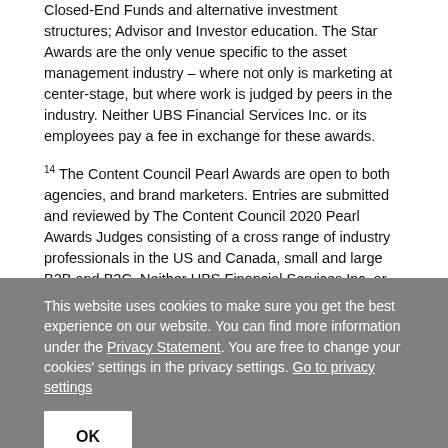Closed-End Funds and alternative investment structures; Advisor and Investor education. The Star Awards are the only venue specific to the asset management industry – where not only is marketing at center-stage, but where work is judged by peers in the industry. Neither UBS Financial Services Inc. or its employees pay a fee in exchange for these awards.
14 The Content Council Pearl Awards are open to both agencies, and brand marketers. Entries are submitted and reviewed by The Content Council 2020 Pearl Awards Judges consisting of a cross range of industry professionals in the US and Canada, small and large B2B and B2C. Neither UBS Financial Services Inc. or its employees pay a fee in exchange for these awards.
This is for informational and educational purposes only and should not be relied upon as investment advice or the basis for making any investment decisions. It has not been prepared with regard to the specific objectives,
This website uses cookies to make sure you get the best experience on our website. You can find more information under the Privacy Statement. You are free to change your cookies' settings in the privacy settings. Go to privacy settings
OK